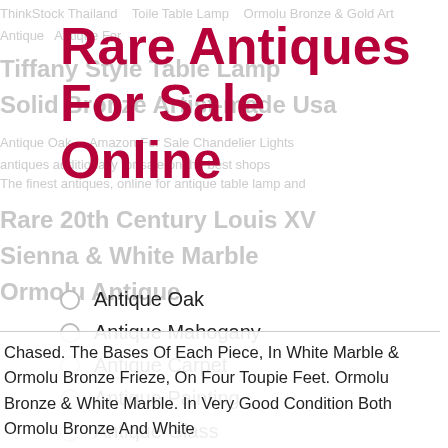Rare Antiques For Sale Online
Antique Oak
Antique Mahogany
Antique Carpet
Antique Painting
Antique Glass
Antique Plate
Chased. The Bases Of Each Piece, In White Marble & Ormolu Bronze Frieze, On Four Toupie Feet. Ormolu Bronze & White Marble. In Very Good Condition Both Ormolu Bronze And White